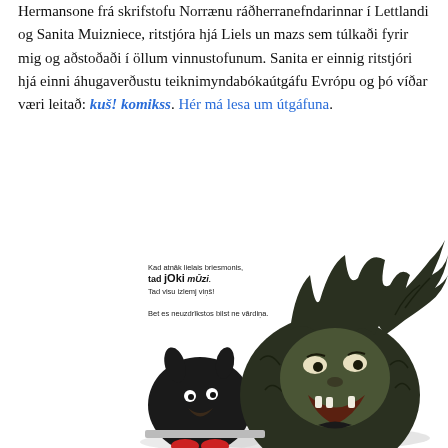Hermansone frá skrifstofu Norrænu ráðherranefndarinnar í Lettlandi og Sanita Muizniece, ritstjóra hjá Liels un mazs sem túlkaði fyrir mig og aðstoðaði í öllum vinnustofunum. Sanita er einnig ritstjóri hjá einni áhugaverðustu teiknimyndabókaútgáfu Evrópu og þó víðar væri leitað: kuš! komikss. Hér má lesa um útgáfuna.
[Figure (illustration): Illustration from a comic book showing two dark furry monster-like creatures. The larger one on the right has wild hair and is leaning forward with its mouth open showing teeth. The smaller one on the left is round and dark. Text in Latvian is visible on the left side of the image.]